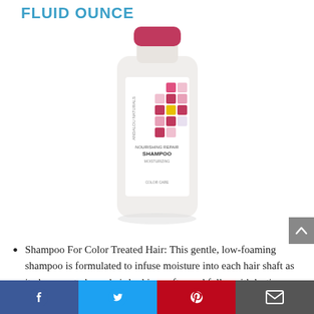FLUID OUNCE
[Figure (photo): Shampoo bottle product photo — a white bottle with pink/magenta cap and colorful square pattern label, labeled as shampoo for color care]
Shampoo For Color Treated Hair: This gentle, low-foaming shampoo is formulated to infuse moisture into each hair shaft as it cleanses, to leave hair looking softer and fuller with lasting shine.
Powerful Nature, Powerful You: Made with rose stem cells, our 1000 Roses haircare line nourishes and fortifies strands.
Facebook | Twitter | Pinterest | Email